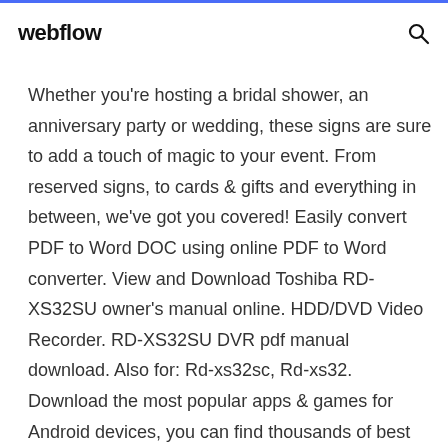webflow
Whether you're hosting a bridal shower, an anniversary party or wedding, these signs are sure to add a touch of magic to your event. From reserved signs, to cards & gifts and everything in between, we've got you covered! Easily convert PDF to Word DOC using online PDF to Word converter. View and Download Toshiba RD-XS32SU owner's manual online. HDD/DVD Video Recorder. RD-XS32SU DVR pdf manual download. Also for: Rd-xs32sc, Rd-xs32. Download the most popular apps & games for Android devices, you can find thousands of best free apps & games for Android Discover